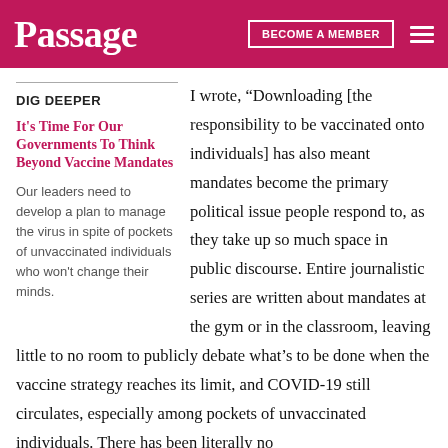Passage | BECOME A MEMBER
DIG DEEPER
It's Time For Our Governments To Think Beyond Vaccine Mandates
Our leaders need to develop a plan to manage the virus in spite of pockets of unvaccinated individuals who won't change their minds.
I wrote, “Downloading [the responsibility to be vaccinated onto individuals] has also meant mandates become the primary political issue people respond to, as they take up so much space in public discourse. Entire journalistic series are written about mandates at the gym or in the classroom, leaving little to no room to publicly debate what’s to be done when the vaccine strategy reaches its limit, and COVID-19 still circulates, especially among pockets of unvaccinated individuals. There has been literally no